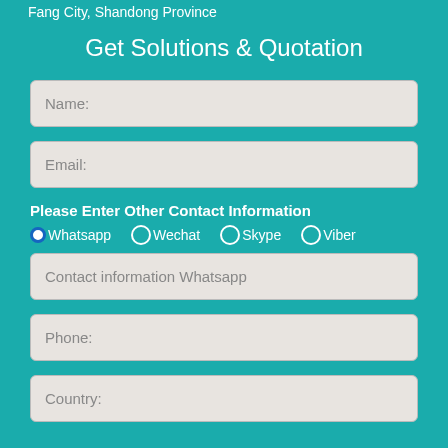Fang City, Shandong Province
Get Solutions & Quotation
Name:
Email:
Please Enter Other Contact Information
Whatsapp
Wechat
Skype
Viber
Contact information Whatsapp
Phone:
Country: